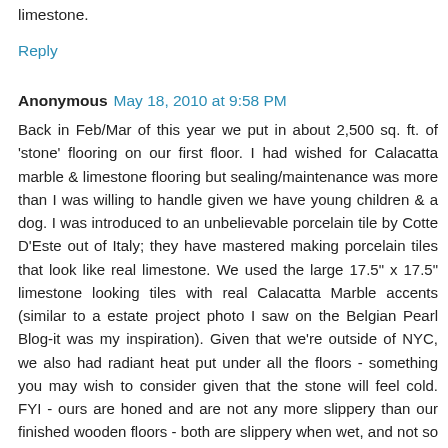limestone.
Reply
Anonymous  May 18, 2010 at 9:58 PM
Back in Feb/Mar of this year we put in about 2,500 sq. ft. of 'stone' flooring on our first floor. I had wished for Calacatta marble & limestone flooring but sealing/maintenance was more than I was willing to handle given we have young children & a dog. I was introduced to an unbelievable porcelain tile by Cotte D'Este out of Italy; they have mastered making porcelain tiles that look like real limestone. We used the large 17.5" x 17.5" limestone looking tiles with real Calacatta Marble accents (similar to a estate project photo I saw on the Belgian Pearl Blog-it was my inspiration). Given that we're outside of NYC, we also had radiant heat put under all the floors - something you may wish to consider given that the stone will feel cold. FYI - ours are honed and are not any more slippery than our finished wooden floors - both are slippery when wet, and not so when dry. Though wooden floors scratch and show dings. Love my 'stone' floors.